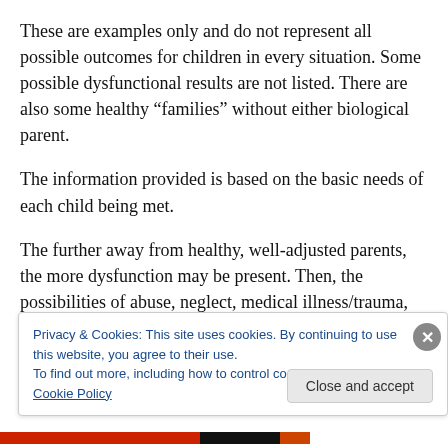These are examples only and do not represent all possible outcomes for children in every situation. Some possible dysfunctional results are not listed. There are also some healthy “families” without either biological parent.
The information provided is based on the basic needs of each child being met.
The further away from healthy, well-adjusted parents, the more dysfunction may be present. Then, the possibilities of abuse, neglect, medical illness/trauma, sexual abuse,
Privacy & Cookies: This site uses cookies. By continuing to use this website, you agree to their use.
To find out more, including how to control cookies, see here: Cookie Policy
Close and accept